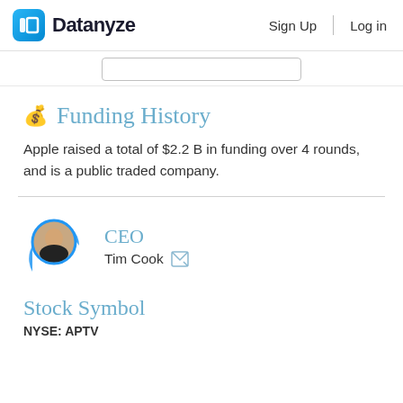Datanyze   Sign Up   Log in
Funding History
Apple raised a total of $2.2 B in funding over 4 rounds, and is a public traded company.
CEO
Tim Cook
Stock Symbol
NYSE: APTV